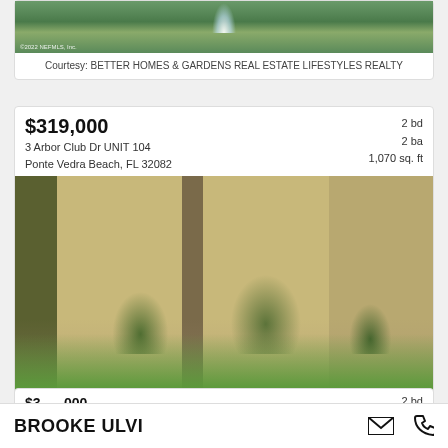[Figure (photo): Partial view of a property photo showing a water fountain and green landscape, with watermark '©2022 NEFMLS, Inc.']
Courtesy: BETTER HOMES & GARDENS REAL ESTATE LIFESTYLES REALTY
$319,000
3 Arbor Club Dr UNIT 104
Ponte Vedra Beach, FL 32082
2 bd
2 ba
1,070 sq. ft
[Figure (photo): Exterior photo of a multi-story tan brick condominium building at 3 Arbor Club Dr, Ponte Vedra Beach, FL, with green lawn, trees, and a concrete walkway leading to the entrance. Watermark '©2022 NEFMLS, Inc.']
Courtesy: REDZONE REALTY LLC
$3__,000
2 bd
BROOKE ULVI